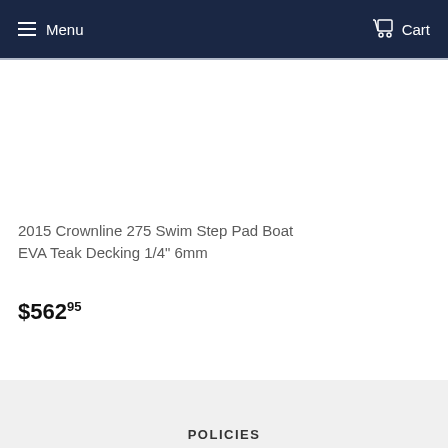Menu  Cart
2015 Crownline 275 Swim Step Pad Boat EVA Teak Decking 1/4" 6mm
$562.95
POLICIES